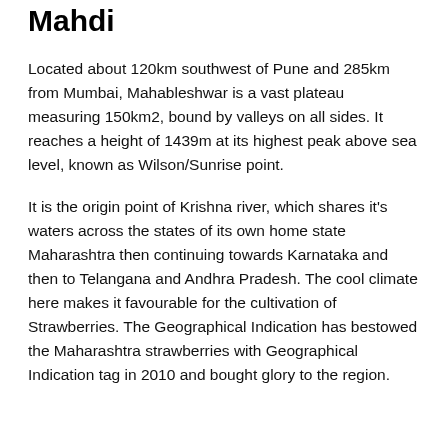Mahdi
Located about 120km southwest of Pune and 285km from Mumbai, Mahableshwar is a vast plateau measuring 150km2, bound by valleys on all sides. It reaches a height of 1439m at its highest peak above sea level, known as Wilson/Sunrise point.
It is the origin point of Krishna river, which shares it's waters across the states of its own home state Maharashtra then continuing towards Karnataka and then to Telangana and Andhra Pradesh. The cool climate here makes it favourable for the cultivation of Strawberries. The Geographical Indication has bestowed the Maharashtra strawberries with Geographical Indication tag in 2010 and bought glory to the region.